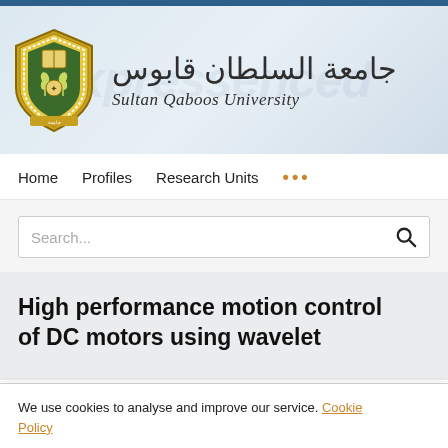[Figure (logo): Sultan Qaboos University logo with Arabic and English name]
Home   Profiles   Research Units   ...
Search...
High performance motion control of DC motors using wavelet
We use cookies to analyse and improve our service. Cookie Policy